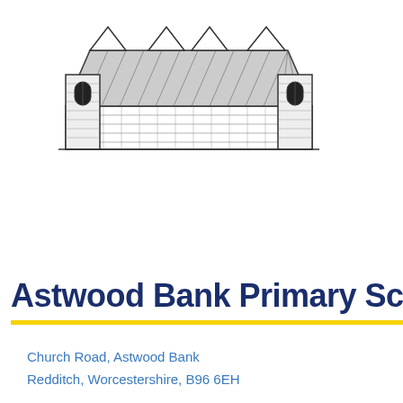[Figure (illustration): Black and white line drawing of a church building with pointed Gothic-style roof peaks and tower windows, resembling Astwood Bank church]
Astwood Bank Primary School
Church Road, Astwood Bank
Redditch, Worcestershire, B96 6EH